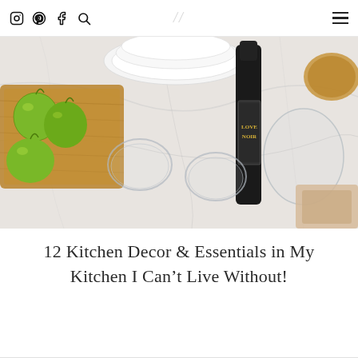Social icons: Instagram, Pinterest, Facebook, Search | Logo mark | Hamburger menu
[Figure (photo): Overhead flat-lay kitchen scene on white marble surface: green apples on wooden cutting board, stacked white bowls, a dark wine bottle labeled 'LOVE NOIR', upturned clear glass bowls, and a round wooden container.]
12 Kitchen Decor & Essentials in My Kitchen I Can't Live Without!